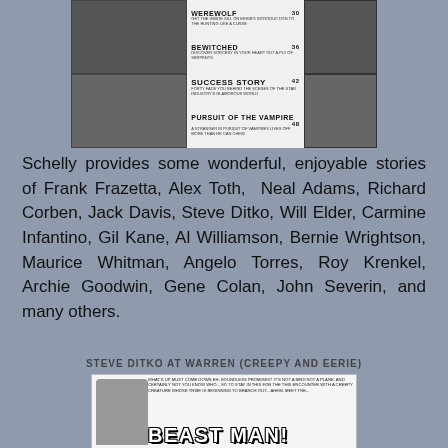[Figure (illustration): Black and white comic book table of contents page showing entries for Werewolf, Bewitched, Success Story, and Pursuit of the Vampire with small illustration panels on left and right sides]
Schelly provides some wonderful, enjoyable stories of Frank Frazetta, Alex Toth, Neal Adams, Richard Corben, Jack Davis, Steve Ditko, Will Elder, Carmine Infantino, Gil Kane, Al Williamson, Bernie Wrightson, Maurice Whitman, Angelo Torres, Roy Krenkel, Archie Goodwin, Gene Colan, John Severin, and many others.
STEVE DITKO AT WARREN (CREEPY AND EERIE)
[Figure (illustration): Comic book panel showing Beast Man with a figure and large bold text reading BEAST MAN!]